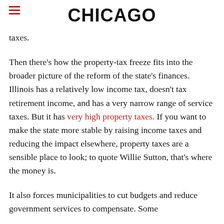CHICAGO
taxes.
Then there's how the property-tax freeze fits into the broader picture of the reform of the state's finances. Illinois has a relatively low income tax, doesn't tax retirement income, and has a very narrow range of service taxes. But it has very high property taxes. If you want to make the state more stable by raising income taxes and reducing the impact elsewhere, property taxes are a sensible place to look; to quote Willie Sutton, that's where the money is.
It also forces municipalities to cut budgets and reduce government services to compensate. Some